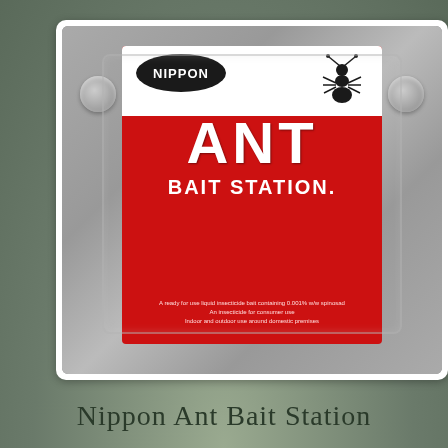[Figure (photo): Product photo of Nippon Ant Bait Station — a red and white packaging with a black Nippon logo oval, large white ANT text, BAIT STATION subtext, and an ant graphic. The product is in a grey plastic blister pack on a white card background.]
Nippon Ant Bait Station